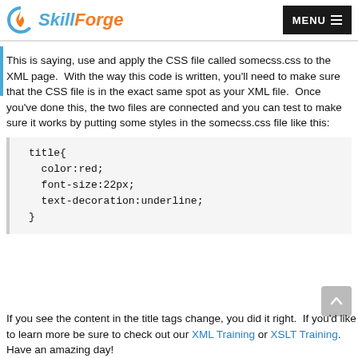SkillForge | MENU
This is saying, use and apply the CSS file called somecss.css to the XML page.  With the way this code is written, you'll need to make sure that the CSS file is in the exact same spot as your XML file.  Once you've done this, the two files are connected and you can test to make sure it works by putting some styles in the somecss.css file like this:
title{
  color:red;
  font-size:22px;
  text-decoration:underline;
}
If you see the content in the title tags change, you did it right.  If you'd like to learn more be sure to check out our XML Training or XSLT Training.  Have an amazing day!